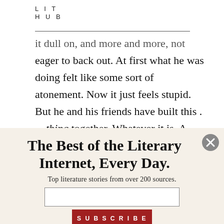LIT HUB
… it dull on, and more and more, not eager to back out. At first what he was doing felt like some sort of atonement. Now it just feels stupid. But he and his friends have built this . . . thing together. Whatever it is. A business? A micro media empire?
The Best of the Literary Internet, Every Day.
Top literature stories from over 200 sources.
SUBSCRIBE